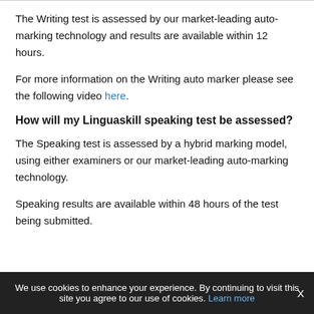The Writing test is assessed by our market-leading auto-marking technology and results are available within 12 hours.
For more information on the Writing auto marker please see the following video here.
How will my Linguaskill speaking test be assessed?
The Speaking test is assessed by a hybrid marking model, using either examiners or our market-leading auto-marking technology.
Speaking results are available within 48 hours of the test being submitted.
We use cookies to enhance your experience. By continuing to visit this site you agree to our use of cookies. Learn more X